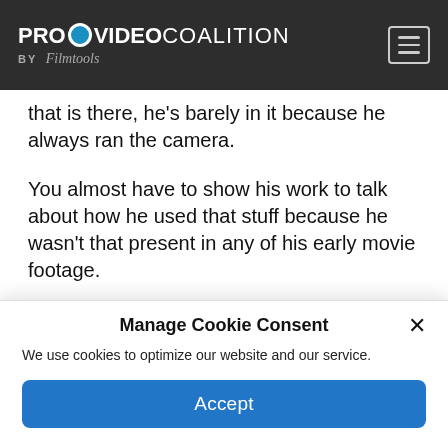PROVIDEO COALITION BY Filmtools
that is there, he's barely in it because he always ran the camera.
You almost have to show his work to talk about how he used that stuff because he wasn't that present in any of his early movie footage.
HULLFISH: You alluded to the fact that there is no sound on a lot of the 8-millimeter footage —
Manage Cookie Consent
We use cookies to optimize our website and our service.
Accept